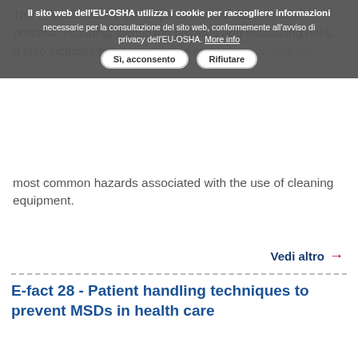The E-fact explains the steps of the risk assessment process, including identifying hazards and evaluating risks. It also includes two case studies on prevention and a checklist of the most common hazards associated with the use of cleaning equipment.
Vedi altro →
E-fact 28 - Patient handling techniques to prevent MSDs in health care
Guides & Tools   EU
Bulgarian , Danish , German , Estonian , Greek , English , Spanish , French , Italian , Latvian , Lithuanian , Hungarian , Malti , Dutch , Polish , Romanian , Slovak , Slovenian , Finnish , Swedish